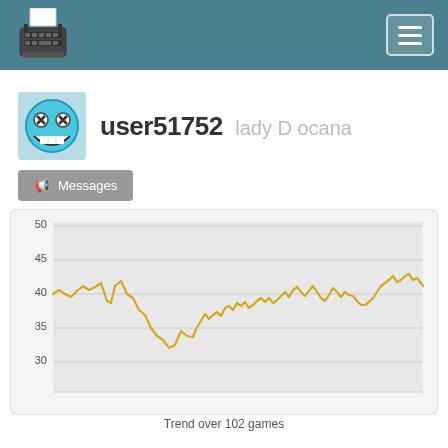Navigation bar with typewriter logo and menu button
user51752 lady D ocana
Messages
[Figure (line-chart): Line chart showing typing speed trend over 102 games, ranging approximately 30-50 WPM, with a general upward trend from around 40 to 45 WPM]
Trend over 102 games